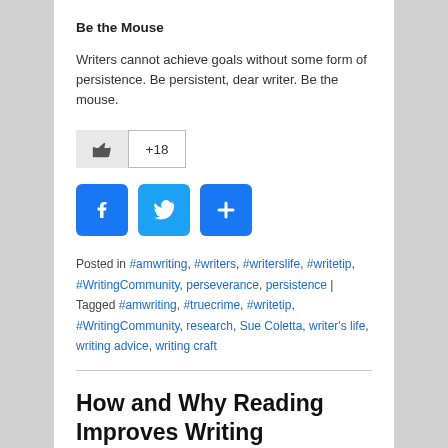Be the Mouse
Writers cannot achieve goals without some form of persistence. Be persistent, dear writer. Be the mouse.
[Figure (other): Like button with thumbs up icon and +18 count]
[Figure (other): Social sharing buttons: Facebook, Twitter, and a share/plus button]
Posted in #amwriting, #writers, #writerslife, #writetip, #WritingCommunity, perseverance, persistence | Tagged #amwriting, #truecrime, #writetip, #WritingCommunity, research, Sue Coletta, writer's life, writing advice, writing craft
How and Why Reading Improves Writing